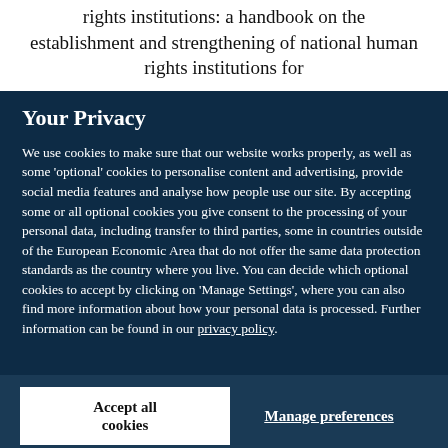rights institutions: a handbook on the establishment and strengthening of national human rights institutions for
Your Privacy
We use cookies to make sure that our website works properly, as well as some 'optional' cookies to personalise content and advertising, provide social media features and analyse how people use our site. By accepting some or all optional cookies you give consent to the processing of your personal data, including transfer to third parties, some in countries outside of the European Economic Area that do not offer the same data protection standards as the country where you live. You can decide which optional cookies to accept by clicking on 'Manage Settings', where you can also find more information about how your personal data is processed. Further information can be found in our privacy policy.
Accept all cookies
Manage preferences